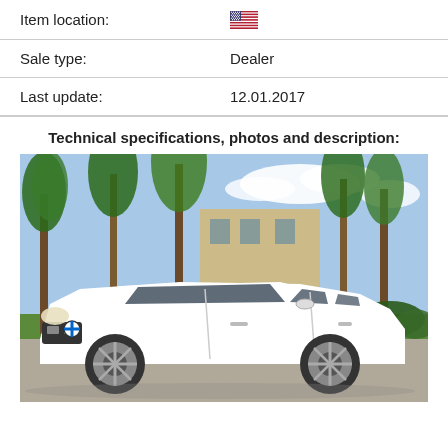Item location:
Sale type: Dealer
Last update: 12.01.2017
Technical specifications, photos and description:
[Figure (photo): White BMW X3 SUV parked in front of palm trees and a building on a sunny day in what appears to be Florida]